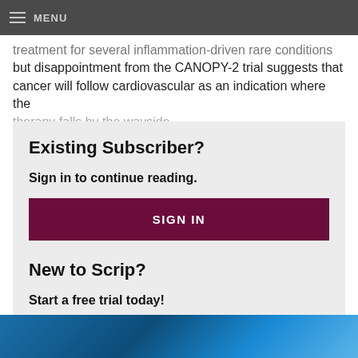MENU
treatment for several inflammation-driven rare conditions but disappointment from the CANOPY-2 trial suggests that cancer will follow cardiovascular as an indication where the therapy falls by the wayside.
Existing Subscriber?
Sign in to continue reading.
SIGN IN
New to Scrip?
Start a free trial today!
FREE TRIAL
[Figure (photo): Blue medical/anatomical image strip at bottom of page]